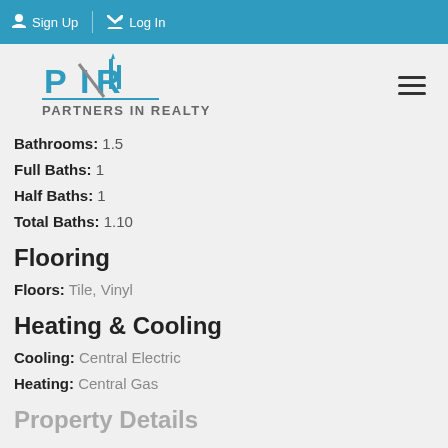Sign Up  Log In
[Figure (logo): Partners in Realty logo with PIR letters and building icon]
Bathrooms:  1.5
Full Baths:  1
Half Baths:  1
Total Baths:  1.10
Flooring
Floors:  Tile, Vinyl
Heating & Cooling
Cooling:  Central Electric
Heating:  Central Gas
Property Details